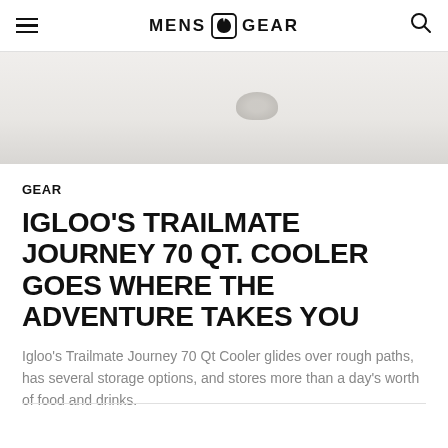MENS GEAR
[Figure (photo): Partial view of a cooler product against a light gray/beige background, showing the top portion of the Igloo Trailmate Journey 70 Qt Cooler]
GEAR
IGLOO'S TRAILMATE JOURNEY 70 QT. COOLER GOES WHERE THE ADVENTURE TAKES YOU
Igloo's Trailmate Journey 70 Qt Cooler glides over rough paths, has several storage options, and stores more than a day's worth of food and drinks.